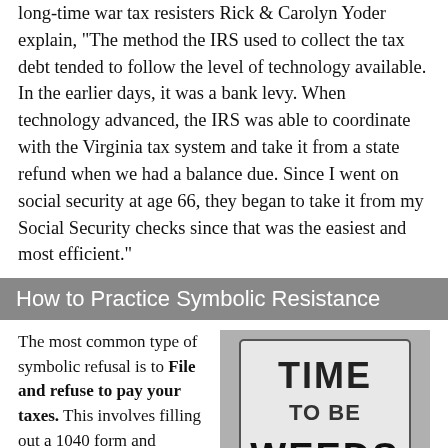long-time war tax resisters Rick & Carolyn Yoder explain, “The method the IRS used to collect the tax debt tended to follow the level of technology available. In the earlier days, it was a bank levy. When technology advanced, the IRS was able to coordinate with the Virginia tax system and take it from a state refund when we had a balance due. Since I went on social security at age 66, they began to take it from my Social Security checks since that was the easiest and most efficient.”
How to Practice Symbolic Resistance
The most common type of symbolic refusal is to File and refuse to pay your taxes. This involves filling out a 1040 form and refusing to pay a token or symbolic amount (e.g. $5, $9.11, $10.40, $50, $200). If you normally receive a refund, find
[Figure (photo): Black and white photo of a protest sign held up reading 'TIME TO BE WEEDS' with decorative lettering, crowd visible in background.]